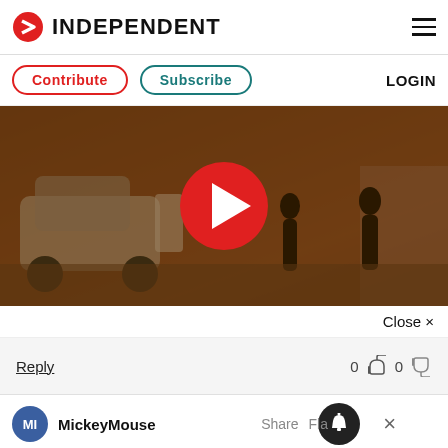INDEPENDENT
Contribute   Subscribe   LOGIN
[Figure (screenshot): Video thumbnail showing a dark sepia-toned scene with a car and silhouetted figures, overlaid with a large red circular play button]
Close ×
Reply   0 👍 0 👎
MickeyMouse   Share   Flag
Earn money by sharing your opinions   SIGN UP